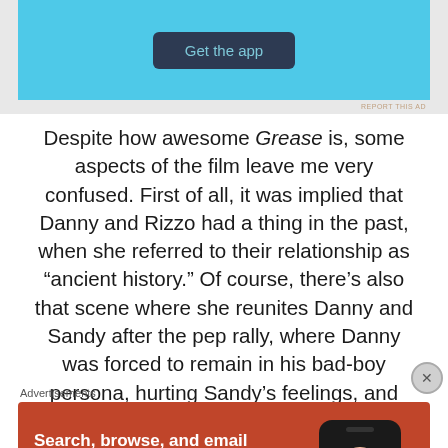[Figure (other): Blue advertisement banner with a 'Get the app' button]
Despite how awesome Grease is, some aspects of the film leave me very confused. First of all, it was implied that Danny and Rizzo had a thing in the past, when she referred to their relationship as “ancient history.” Of course, there’s also that scene where she reunites Danny and Sandy after the pep rally, where Danny was forced to remain in his bad-boy persona, hurting Sandy’s feelings, and leaving
Advertisements
[Figure (other): DuckDuckGo advertisement: Search, browse, and email with more privacy. All in One Free App.]